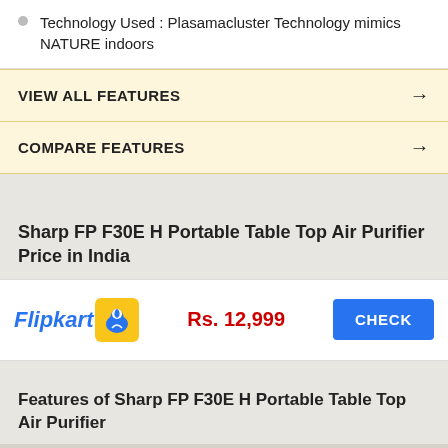Technology Used : Plasamacluster Technology mimics NATURE indoors
VIEW ALL FEATURES →
COMPARE FEATURES →
Sharp FP F30E H Portable Table Top Air Purifier Price in India
|  | Price | Action |
| --- | --- | --- |
| Flipkart | Rs. 12,999 | CHECK |
Features of Sharp FP F30E H Portable Table Top Air Purifier
| Suitable For | Home, Office, Doctors |
| --- | --- |
| Suitable For | Home, Office, Doctors |